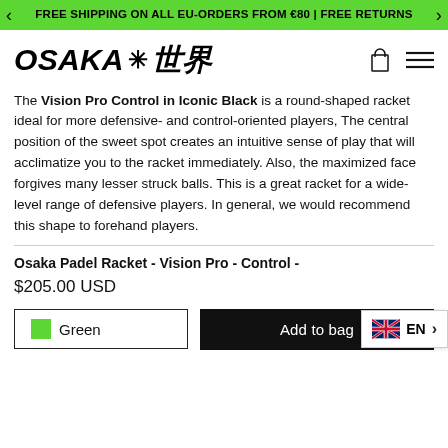FREE SHIPPING ON ALL EU-ORDERS FROM €80 | FREE RETURNS
[Figure (logo): OSAKA brand logo with star/snowflake symbol and Japanese characters 世界]
The Vision Pro Control in Iconic Black is a round-shaped racket ideal for more defensive- and control-oriented players, The central position of the sweet spot creates an intuitive sense of play that will acclimatize you to the racket immediately. Also, the maximized face forgives many lesser struck balls. This is a great racket for a wide-level range of defensive players. In general, we would recommend this shape to forehand players.
Osaka Padel Racket - Vision Pro - Control -
$205.00 USD
Green
Add to bag
EN